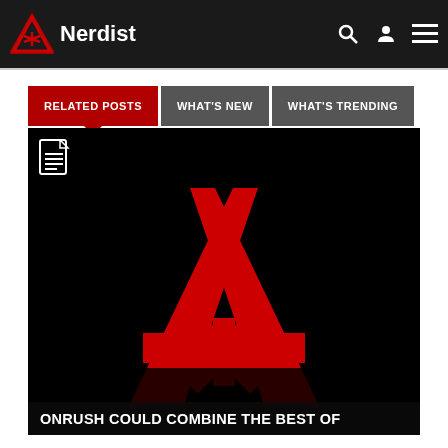Nerdist
RELATED POSTS | WHAT'S NEW | WHAT'S TRENDING
[Figure (screenshot): Nerdist website screenshot showing navigation tabs (RELATED POSTS, WHAT'S NEW, WHAT'S TRENDING) and a large black image with the Nerdist logo (red letter A with asterisk/star symbol) and caption text 'ONRUSH COULD COMBINE THE BEST OF']
ONRUSH COULD COMBINE THE BEST OF